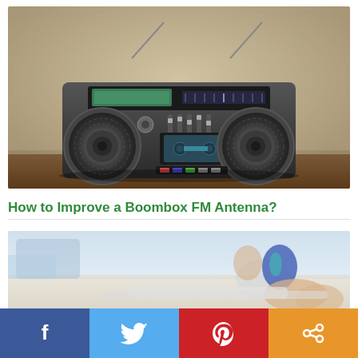[Figure (photo): Vintage retro boombox radio with two antennas extended, sitting on a wooden surface against a beige/cream textured wall background]
How to Improve a Boombox FM Antenna?
[Figure (photo): Woman in a blue swimsuit sitting on a beach chair, blurred background with beach/pool setting]
[Figure (infographic): Social media share bar with Facebook (blue), Twitter (light blue), Pinterest (red), and Share (orange) buttons]